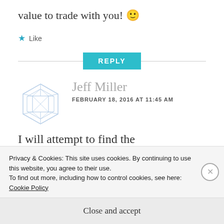value to trade with you! 🙂
★ Like
REPLY
Jeff Miller
FEBRUARY 18, 2016 AT 11:45 AM
I will attempt to find the recipe and share it with you! My mother
Privacy & Cookies: This site uses cookies. By continuing to use this website, you agree to their use.
To find out more, including how to control cookies, see here: Cookie Policy
Close and accept